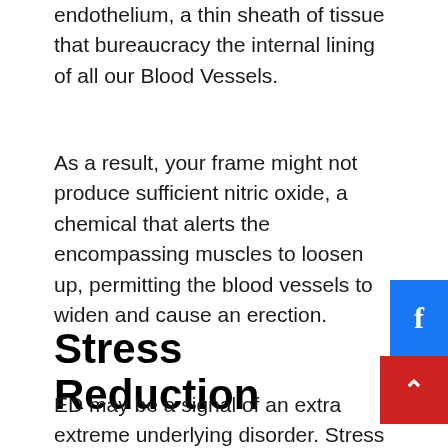endothelium, a thin sheath of tissue that bureaucracy the internal lining of all our Blood Vessels.
As a result, your frame might not produce sufficient nitric oxide, a chemical that alerts the encompassing muscles to loosen up, permitting the blood vessels to widen and cause an erection.
Stress Reduction
ED may be a signal of an extra extreme underlying disorder. Stress at work or at domestic is regularly a contributing element to intellectual fitness troubles inclusive of despair, anxiety, and excessive blood pressure. While therapy or counseling is probably beneficial, different stress-relieving cures inclusive of acupuncture and exercising also